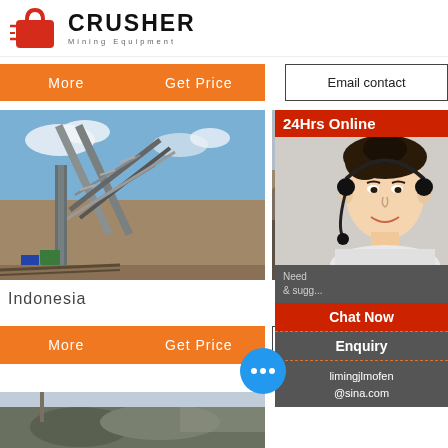[Figure (logo): Crusher Mining Equipment logo with red shopping bag icon and bold text]
More    Get Price
Email contact
[Figure (photo): Mining conveyor belt and steel frame structure on an outdoor site in Indonesia]
[Figure (photo): Right side: crushed stone/aggregate pile site photo; overlaid with 24Hrs Online panel with female customer service agent wearing headset]
Indonesia
More    Get Price
Email c...
Need... & sugg...
Chat Now
Enquiry
limingjlmofen@sina.com
[Figure (photo): Bottom strip: partial view of mining/construction equipment]